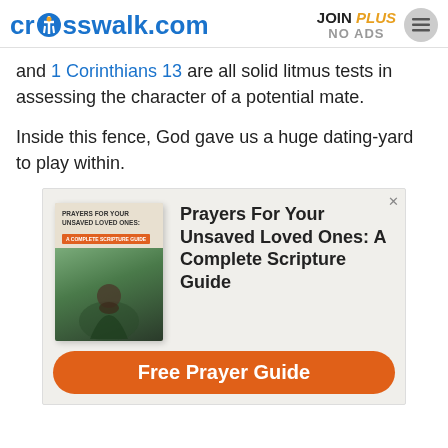crosswalk.com | JOIN PLUS NO ADS
and 1 Corinthians 13 are all solid litmus tests in assessing the character of a potential mate.
Inside this fence, God gave us a huge dating-yard to play within.
[Figure (other): Advertisement for 'Prayers For Your Unsaved Loved Ones: A Complete Scripture Guide' with a book cover image, descriptive text, and an orange 'Free Prayer Guide' button.]